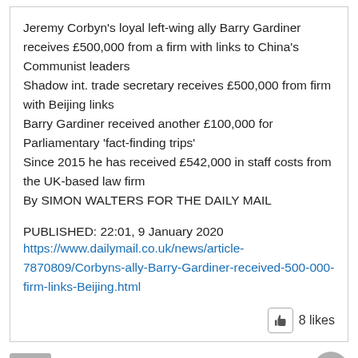Jeremy Corbyn's loyal left-wing ally Barry Gardiner receives £500,000 from a firm with links to China's Communist leaders
Shadow int. trade secretary receives £500,000 from firm with Beijing links
Barry Gardiner received another £100,000 for Parliamentary 'fact-finding trips'
Since 2015 he has received £542,000 in staff costs from the UK-based law firm
By SIMON WALTERS FOR THE DAILY MAIL

PUBLISHED: 22:01, 9 January 2020
https://www.dailymail.co.uk/news/article-7870809/Corbyns-ally-Barry-Gardiner-received-500-000-firm-links-Beijing.html
8 likes
richard D  JANUARY 25, 2022 AT 3:05 PM
Just thinking about the new changes to the Highway...